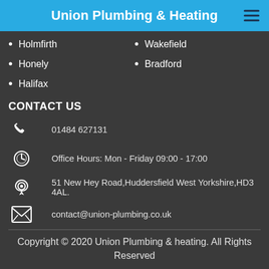Union Plumbing & Heating
Holmfirth
Wakefield
Honely
Bradford
Halifax
CONTACT US
01484 627131
Office Hours: Mon - Friday 09:00 - 17:00
51 New Hey Road,Huddersfield West Yorkshire,HD3 4AL.
contact@union-plumbing.co.uk
Copyright © 2020 Union Plumbing & heating. All Rights Reserved